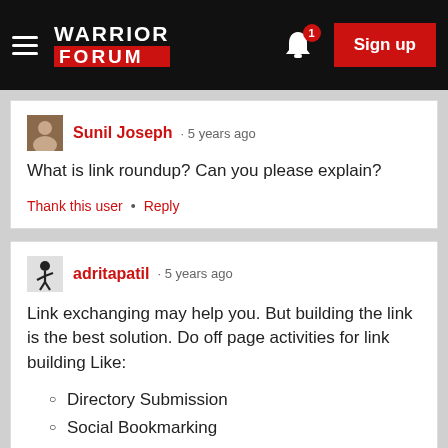WARRIOR FORUM — Sign up
Sunil Joseph · 5 years ago
What is link roundup? Can you please explain?
Thank this user · Reply
adritapatil · 5 years ago
Link exchanging may help you. But building the link is the best solution. Do off page activities for link building Like:
Directory Submission
Social Bookmarking
Blog, Article Submission